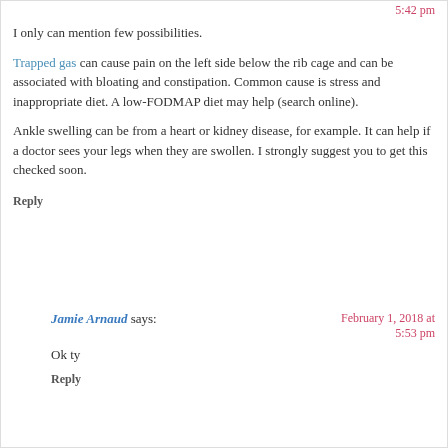5:42 pm
I only can mention few possibilities.
Trapped gas can cause pain on the left side below the rib cage and can be associated with bloating and constipation. Common cause is stress and inappropriate diet. A low-FODMAP diet may help (search online).
Ankle swelling can be from a heart or kidney disease, for example. It can help if a doctor sees your legs when they are swollen. I strongly suggest you to get this checked soon.
Reply
Jamie Arnaud says: February 1, 2018 at 5:53 pm
Ok ty
Reply